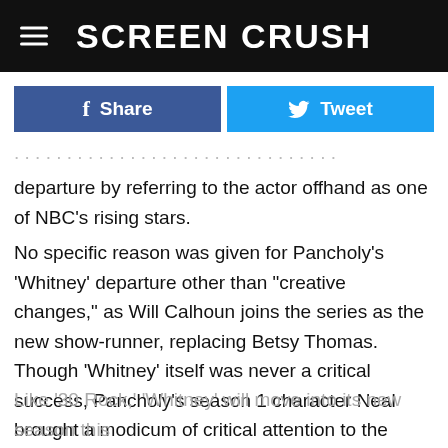Screen Crush
[Figure (other): Facebook Share button and Twitter Tweet button row]
departure by referring to the actor offhand as one of NBC's rising stars.
No specific reason was given for Pancholy's 'Whitney' departure other than "creative changes," as Will Calhoun joins the series as the new show-runner, replacing Betsy Thomas.  Though 'Whitney' itself was never a critical success, Pancholy's season 1 character Neal brought a modicum of critical attention to the series as the character came out of the closet toward the end of the first season.
Like '30 Rock,' 'Whitney' will move into its new season this